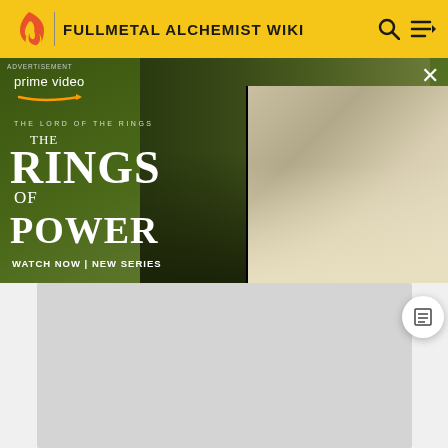FULLMETAL ALCHEMIST WIKI
[Figure (screenshot): Amazon Prime Video advertisement for 'The Lord of the Rings: The Rings of Power' showing characters in a fantasy setting with text 'WATCH NOW | NEW SERIES']
[Figure (photo): Grey placeholder content area below the advertisement]